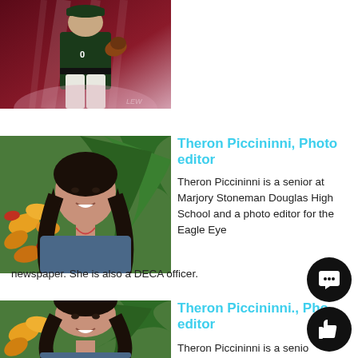[Figure (photo): Baseball player in dark uniform holding glove, dark red/maroon background with light streaks]
[Figure (photo): Young woman with dark hair smiling, standing in front of tropical flowers and palm leaves]
Theron Piccininni, Photo editor
Theron Piccininni is a senior at Marjory Stoneman Douglas High School and a photo editor for the Eagle Eye newspaper. She is also a DECA officer.
[Figure (photo): Same young woman with dark hair smiling, standing in front of tropical flowers and palm leaves]
Theron Piccininni., Photo editor
Theron Piccininni is a senior at Marjory Stoneman Douglas